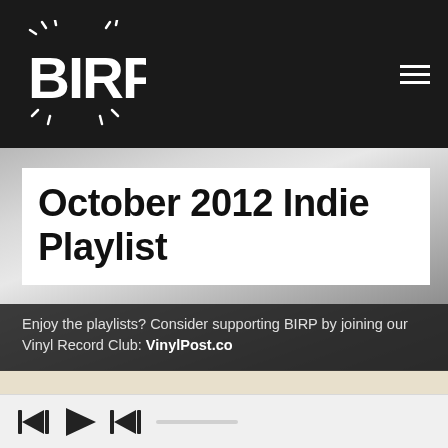BIRP!
October 2012 Indie Playlist
Enjoy the playlists? Consider supporting BIRP by joining our Vinyl Record Club: VinylPost.co
[Figure (illustration): Album art for October 2012 BIRP playlist showing stylized text 'october 2k12' with vinyl record imagery and abstract figure silhouette in black, white, and gold tones]
[Figure (other): Media player controls bar with skip-back, play, and skip-forward buttons and a progress bar]